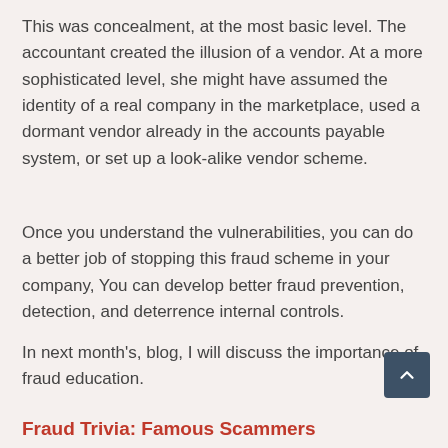This was concealment, at the most basic level. The accountant created the illusion of a vendor. At a more sophisticated level, she might have assumed the identity of a real company in the marketplace, used a dormant vendor already in the accounts payable system, or set up a look-alike vendor scheme.
Once you understand the vulnerabilities, you can do a better job of stopping this fraud scheme in your company, You can develop better fraud prevention, detection, and deterrence internal controls.
In next month's, blog, I will discuss the importance of fraud education.
Fraud Trivia: Famous Scammers